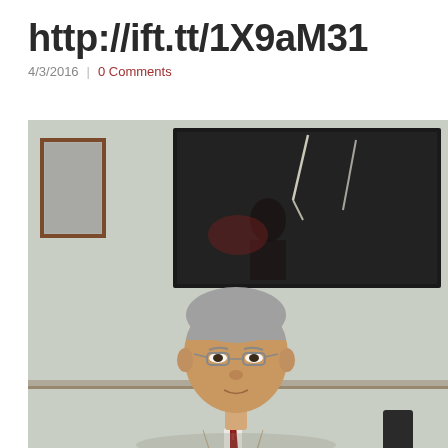http://ift.tt/1X9aM31
4/3/2016 | 0 Comments
[Figure (photo): Photo of an elderly Asian man wearing glasses, a beige/tan blazer, white dress shirt and dark red tie, seated in front of a wall with framed artwork including a dark framed picture with lightning imagery and a smaller framed piece to the left.]